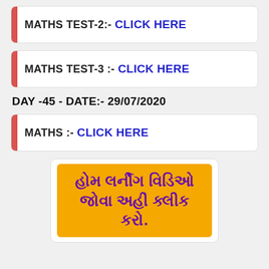MATHS TEST-2:- CLICK HERE
MATHS TEST-3 :- CLICK HERE
DAY -45 - DATE:- 29/07/2020
MATHS :- CLICK HERE
[Figure (other): Orange button with Gujarati text: હોમ લર્નીંગ વિડિઓ જોવા અહીં ક્લીક કરો.]